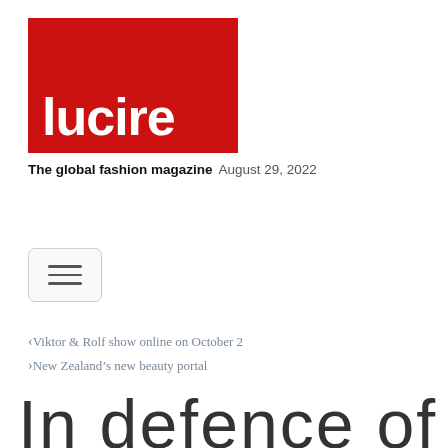[Figure (logo): Lucire magazine logo: red rectangle with white bold text 'lucire']
The global fashion magazine   August 29, 2022
[Figure (other): Hamburger menu button with three horizontal lines inside a rounded rectangle]
< Viktor & Rolf show online on October 2
> New Zealand's new beauty portal
In defence of lipstick